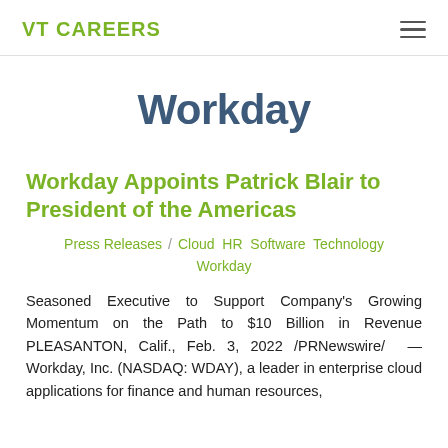VT CAREERS
Workday
Workday Appoints Patrick Blair to President of the Americas
Press Releases / Cloud HR Software Technology Workday
Seasoned Executive to Support Company's Growing Momentum on the Path to $10 Billion in Revenue PLEASANTON, Calif., Feb. 3, 2022 /PRNewswire/ — Workday, Inc. (NASDAQ: WDAY), a leader in enterprise cloud applications for finance and human resources,